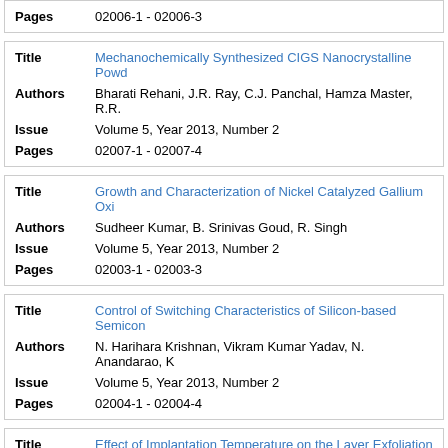| Field | Value |
| --- | --- |
| Pages | 02006-1 - 02006-3 |
| Field | Value |
| --- | --- |
| Title | Mechanochemically Synthesized CIGS Nanocrystalline Powd... |
| Authors | Bharati Rehani, J.R. Ray, C.J. Panchal, Hamza Master, R.R. ... |
| Issue | Volume 5, Year 2013, Number 2 |
| Pages | 02007-1 - 02007-4 |
| Field | Value |
| --- | --- |
| Title | Growth and Characterization of Nickel Catalyzed Gallium Oxi... |
| Authors | Sudheer Kumar, B. Srinivas Goud, R. Singh |
| Issue | Volume 5, Year 2013, Number 2 |
| Pages | 02003-1 - 02003-3 |
| Field | Value |
| --- | --- |
| Title | Control of Switching Characteristics of Silicon-based Semicon... |
| Authors | N. Harihara Krishnan, Vikram Kumar Yadav, N. Anandarao, K... |
| Issue | Volume 5, Year 2013, Number 2 |
| Pages | 02004-1 - 02004-4 |
| Field | Value |
| --- | --- |
| Title | Effect of Implantation Temperature on the Layer Exfoliation of... |